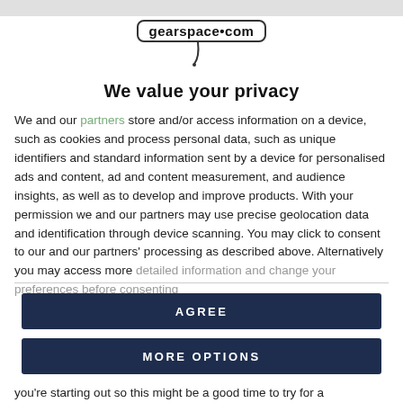[Figure (logo): gearspace.com logo in a rounded rectangle border with a microphone cable icon below]
We value your privacy
We and our partners store and/or access information on a device, such as cookies and process personal data, such as unique identifiers and standard information sent by a device for personalised ads and content, ad and content measurement, and audience insights, as well as to develop and improve products. With your permission we and our partners may use precise geolocation data and identification through device scanning. You may click to consent to our and our partners' processing as described above. Alternatively you may access more detailed information and change your preferences before consenting
AGREE
MORE OPTIONS
you're starting out so this might be a good time to try for a